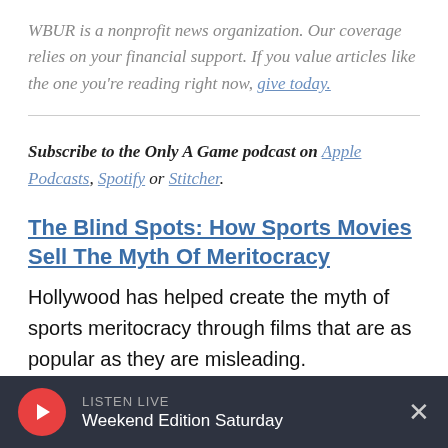WBUR is a nonprofit news organization. Our coverage relies on your financial support. If you value articles like the one you're reading right now, give today.
Subscribe to the Only A Game podcast on Apple Podcasts, Spotify or Stitcher.
The Blind Spots: How Sports Movies Sell The Myth Of Meritocracy
Hollywood has helped create the myth of sports meritocracy through films that are as popular as they are misleading.
LISTEN LIVE Weekend Edition Saturday